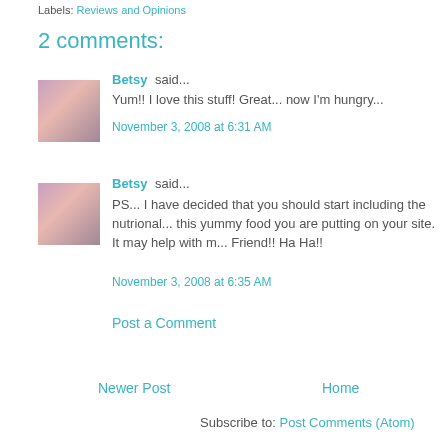Labels: Reviews and Opinions
2 comments:
Betsy said...
Yum!! I love this stuff! Great... now I'm hungry...
November 3, 2008 at 6:31 AM
Betsy said...
PS... I have decided that you should start including the nutrional... this yummy food you are putting on your site. It may help with m... Friend!! Ha Ha!!
November 3, 2008 at 6:35 AM
Post a Comment
Newer Post
Home
Subscribe to: Post Comments (Atom)